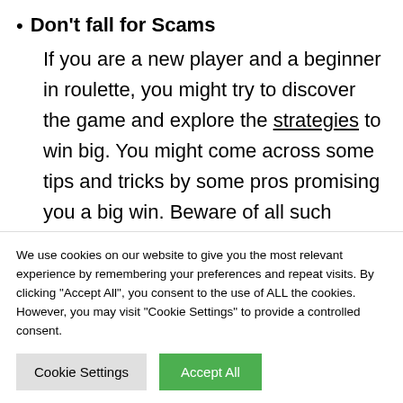Don't fall for Scams
If you are a new player and a beginner in roulette, you might try to discover the game and explore the strategies to win big. You might come across some tips and tricks by some pros promising you a big win. Beware of all such tricks. No matter how experienced a player you are,
We use cookies on our website to give you the most relevant experience by remembering your preferences and repeat visits. By clicking "Accept All", you consent to the use of ALL the cookies. However, you may visit "Cookie Settings" to provide a controlled consent.